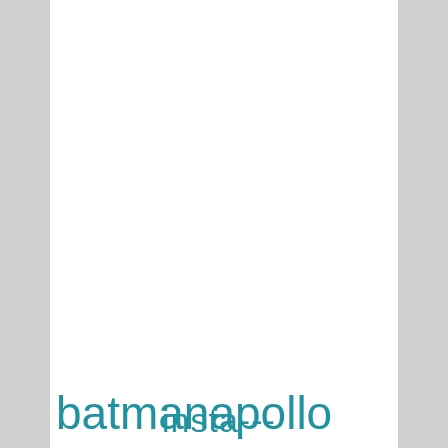[Figure (illustration): Grid of teal/blue-green diamond shapes each containing a white question mark and a small white pencil icon at the bottom. Arranged in rows with varying counts, filling most of the page.]
?? insta---
batmanapollo